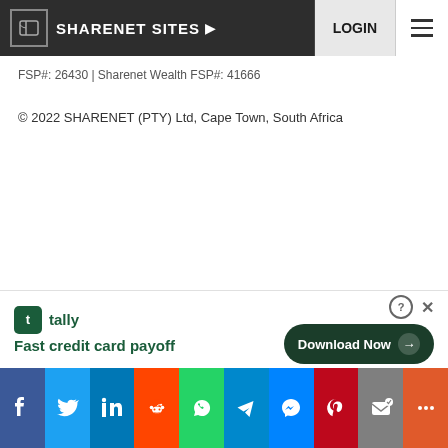SHARENET SITES ▶   LOGIN
FSP#: 26430 | Sharenet Wealth FSP#: 41666
© 2022 SHARENET (PTY) Ltd, Cape Town, South Africa
[Figure (other): Tally app advertisement banner: Fast credit card payoff — Download Now button]
[Figure (other): Social media share bar: Facebook, Twitter, LinkedIn, Reddit, WhatsApp, Telegram, Messenger, Pinterest, Email, More]